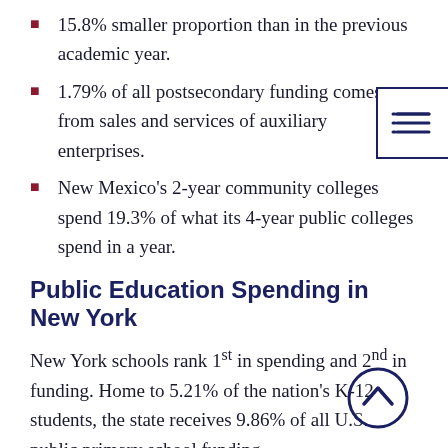15.8% smaller proportion than in the previous academic year.
1.79% of all postsecondary funding comes from sales and services of auxiliary enterprises.
New Mexico's 2-year community colleges spend 19.3% of what its 4-year public colleges spend in a year.
Public Education Spending in New York
New York schools rank 1st in spending and 2nd in funding. Home to 5.21% of the nation's K-12 students, the state receives 9.86% of all U.S. public primary school funding.
New York K-12 schools spend $24,881 per pupil, a total of $65,549,087,000 annually.